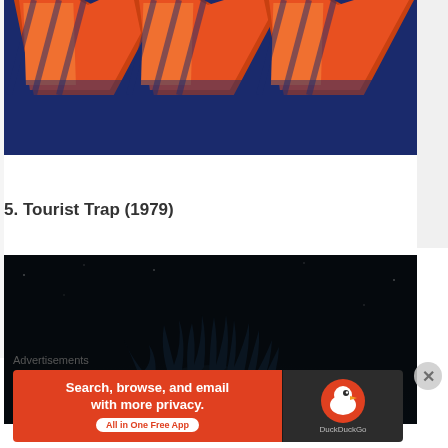[Figure (photo): Close-up of large orange and red stylized letters against a dark blue background, partially cropped at top of page.]
5. Tourist Trap (1979)
[Figure (photo): Dark horror scene showing a shadowy figure with dark wild hair/tentacle-like features against a very dark background with faint blue-teal glow.]
Advertisements
[Figure (screenshot): DuckDuckGo advertisement banner: orange left panel reading 'Search, browse, and email with more privacy. All in One Free App' and dark right panel with DuckDuckGo logo and name.]